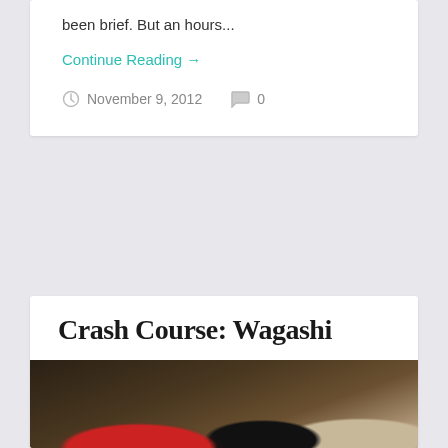been brief. But an hours...
Continue Reading →
November 9, 2012   0
Crash Course: Wagashi
[Figure (photo): Display case showing various wagashi (Japanese confections) arranged on colored lacquer trays — including white round mochi on a red tray, a pink flower-shaped sweet on a black tray, white round pieces on a wooden board, pink grass-like sweet on a black tray, layered rectangular sweet on a red tray, and a white piece on a wooden board.]